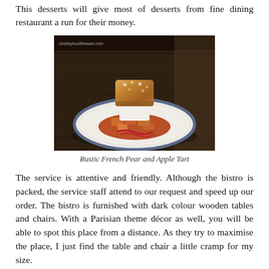This desserts will give most of desserts from fine dining restaurant a run for their money.
[Figure (photo): A rustic French pear and apple tart plated on a white plate with blue rim, featuring a golden pastry on top, cream filling, caramelized fruit pieces, and red sauce drizzle, placed on a dark wooden table. Watermark reads chubbybotandlasie.com]
Rustic French Pear and Apple Tart
The service is attentive and friendly. Although the bistro is packed, the service staff attend to our request and speed up our order. The bistro is furnished with dark colour wooden tables and chairs. With a Parisian theme décor as well, you will be able to spot this place from a distance. As they try to maximise the place, I just find the table and chair a little cramp for my size.